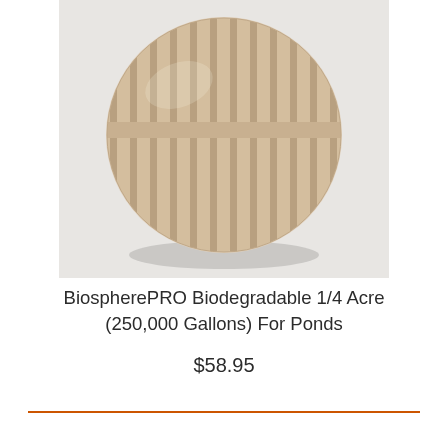[Figure (photo): A round spherical BiospherePRO ball product made of beige/tan slotted plastic strips arranged in a globe shape with a horizontal band around the equator, shown on a light gray background.]
BiospherePRO Biodegradable 1/4 Acre (250,000 Gallons) For Ponds
$58.95